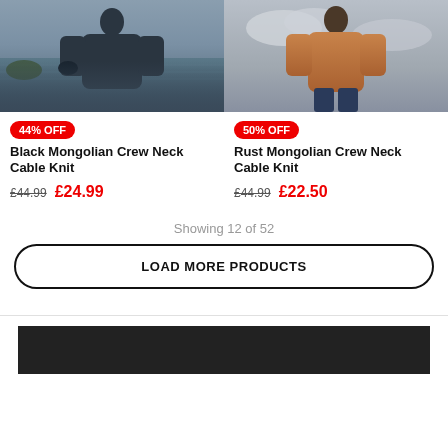[Figure (photo): Man wearing a dark/black cable knit sweater standing by a lake]
[Figure (photo): Man wearing a rust/brown cable knit sweater against cloudy sky]
44% OFF
Black Mongolian Crew Neck Cable Knit
£44.99  £24.99
50% OFF
Rust Mongolian Crew Neck Cable Knit
£44.99  £22.50
Showing 12 of 52
LOAD MORE PRODUCTS